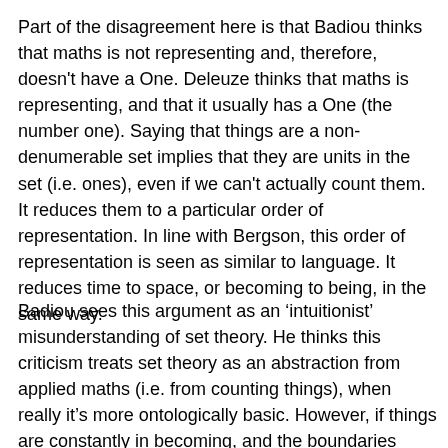Part of the disagreement here is that Badiou thinks that maths is not representing and, therefore, doesn't have a One. Deleuze thinks that maths is representing, and that it usually has a One (the number one). Saying that things are a non-denumerable set implies that they are units in the set (i.e. ones), even if we can't actually count them. It reduces them to a particular order of representation. In line with Bergson, this order of representation is seen as similar to language. It reduces time to space, or becoming to being, in the same way.
Badiou sees this argument as an 'intuitionist' misunderstanding of set theory. He thinks this criticism treats set theory as an abstraction from applied maths (i.e. from counting things), when really it's more ontologically basic. However, if things are constantly in becoming, and the boundaries between different "elements" are blurred and undefinable, it is hard to see how they could be countable objects at all. Set theory attempts to present inconsistent multiplicity in a consistent way. But Deleuze would probably